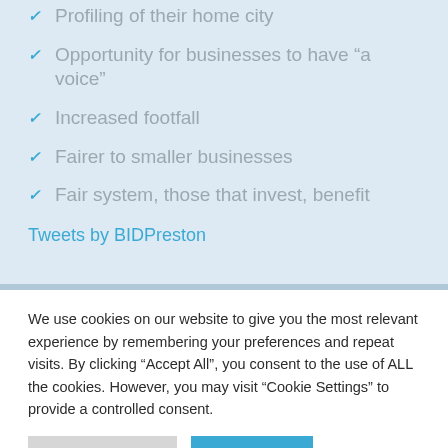Profiling of their home city
Opportunity for businesses to have “a voice”
Increased footfall
Fairer to smaller businesses
Fair system, those that invest, benefit
Tweets by BIDPreston
We use cookies on our website to give you the most relevant experience by remembering your preferences and repeat visits. By clicking “Accept All”, you consent to the use of ALL the cookies. However, you may visit “Cookie Settings” to provide a controlled consent.